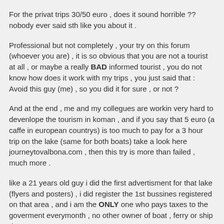For the privat trips 30/50 euro , does it sound horrible ?? nobody ever said sth like you about it .
Professional but not completely , your try on this forum (whoever you are) , it is so obvious that you are not a tourist at all , or maybe a really BAD informed tourist , you do not know how does it work with my trips , you just said that : Avoid this guy (me) , so you did it for sure , or not ?
And at the end , me and my collegues are workin very hard to devenlope the tourism in koman , and if you say that 5 euro (a caffe in european countrys) is too much to pay for a 3 hour trip on the lake (same for both boats) take a look here journeytovalbona.com , then this try is more than failed , much more .
like a 21 years old guy i did the first advertisment for that lake (flyers and posters) , i did register the 1st bussines registered on that area , and i am the ONLY one who pays taxes to the goverment everymonth , no other owner of boat , ferry or ship does .